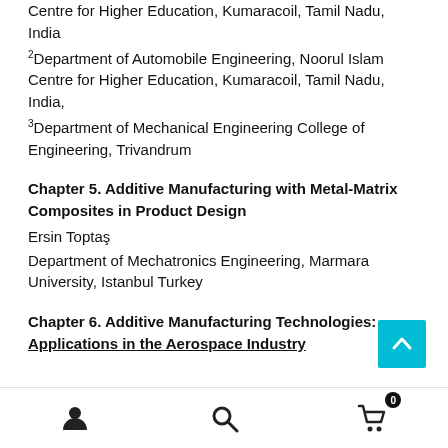Centre for Higher Education, Kumaracoil, Tamil Nadu, India
2Department of Automobile Engineering, Noorul Islam Centre for Higher Education, Kumaracoil, Tamil Nadu, India,
3Department of Mechanical Engineering College of Engineering, Trivandrum
Chapter 5. Additive Manufacturing with Metal-Matrix Composites in Product Design
Ersin Toptaş
Department of Mechatronics Engineering, Marmara University, Istanbul Turkey
Chapter 6. Additive Manufacturing Technologies: Applications in the Aerospace Industry